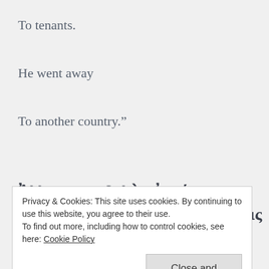To tenants.
He went away
To another country.”
Ἀλλην παραβολὴν ἀκούσατε. Ἀνθρωπος ῆν οἰκοδεσπότης ὅστις ἐφύτευσεν ἀμπελώνα, καὶ
Privacy & Cookies: This site uses cookies. By continuing to use this website, you agree to their use.
To find out more, including how to control cookies, see here: Cookie Policy